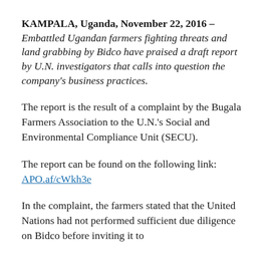KAMPALA, Uganda, November 22, 2016 – Embattled Ugandan farmers fighting threats and land grabbing by Bidco have praised a draft report by U.N. investigators that calls into question the company's business practices.
The report is the result of a complaint by the Bugala Farmers Association to the U.N.'s Social and Environmental Compliance Unit (SECU).
The report can be found on the following link: APO.af/cWkh3e
In the complaint, the farmers stated that the United Nations had not performed sufficient due diligence on Bidco before inviting it to